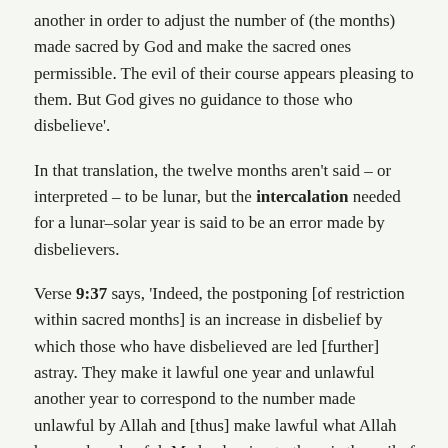another in order to adjust the number of (the months) made sacred by God and make the sacred ones permissible. The evil of their course appears pleasing to them. But God gives no guidance to those who disbelieve'.
In that translation, the twelve months aren't said – or interpreted – to be lunar, but the intercalation needed for a lunar–solar year is said to be an error made by disbelievers.
Verse 9:37 says, 'Indeed, the postponing [of restriction within sacred months] is an increase in disbelief by which those who have disbelieved are led [further] astray. They make it lawful one year and unlawful another year to correspond to the number made unlawful by Allah and [thus] make lawful what Allah has made unlawful. Made pleasing to them is the evil of their deeds; and Allah does not guide the disbelieving people'.